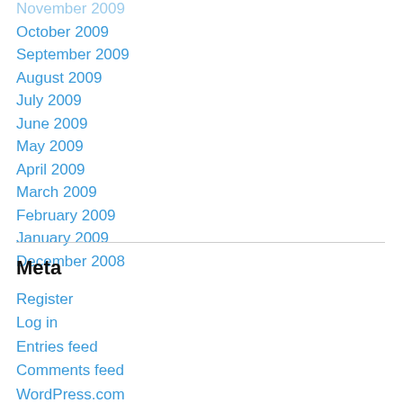November 2009
October 2009
September 2009
August 2009
July 2009
June 2009
May 2009
April 2009
March 2009
February 2009
January 2009
December 2008
Meta
Register
Log in
Entries feed
Comments feed
WordPress.com